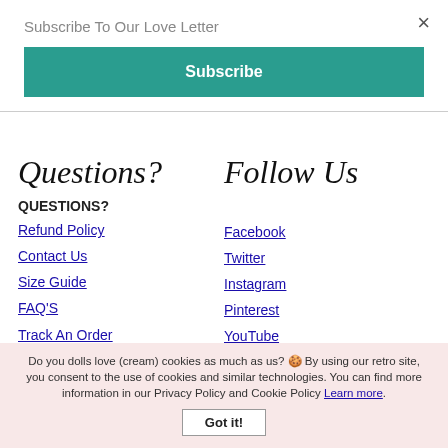Subscribe To Our Love Letter
×
Subscribe
Questions?
Follow Us
QUESTIONS?
Facebook
Refund Policy
Twitter
Contact Us
Instagram
Size Guide
Pinterest
FAQ'S
YouTube
Track An Order
Blog
Do you dolls love (cream) cookies as much as us? 🍪 By using our retro site, you consent to the use of cookies and similar technologies. You can find more information in our Privacy Policy and Cookie Policy Learn more.
Got it!